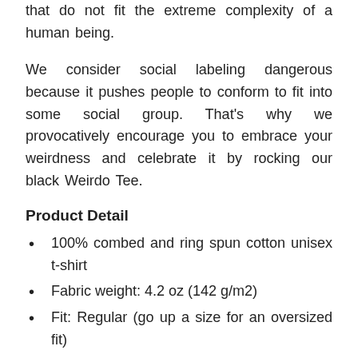that do not fit the extreme complexity of a human being.
We consider social labeling dangerous because it pushes people to conform to fit into some social group. That's why we provocatively encourage you to embrace your weirdness and celebrate it by rocking our black Weirdo Tee.
Product Detail
100% combed and ring spun cotton unisex t-shirt
Fabric weight: 4.2 oz (142 g/m2)
Fit: Regular (go up a size for an oversized fit)
We recommend washing it inside out with cold water and hang drying it
Size Guide
Measurements are provided by our suppliers. Product